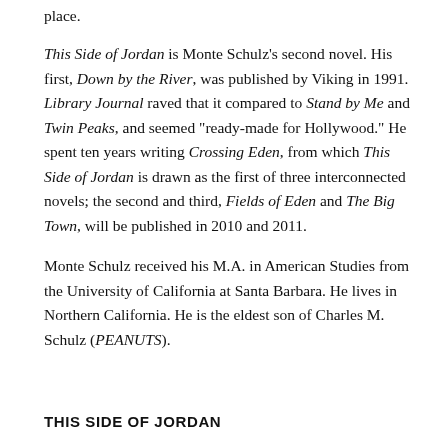place.
This Side of Jordan is Monte Schulz's second novel. His first, Down by the River, was published by Viking in 1991. Library Journal raved that it compared to Stand by Me and Twin Peaks, and seemed "ready-made for Hollywood." He spent ten years writing Crossing Eden, from which This Side of Jordan is drawn as the first of three interconnected novels; the second and third, Fields of Eden and The Big Town, will be published in 2010 and 2011.
Monte Schulz received his M.A. in American Studies from the University of California at Santa Barbara. He lives in Northern California. He is the eldest son of Charles M. Schulz (PEANUTS).
THIS SIDE OF JORDAN